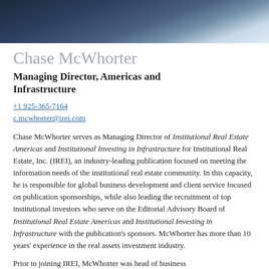[Figure (photo): Headshot photo of Chase McWhorter wearing a dark suit and blue tie, cropped to show shoulders and neck area at top of page]
Chase McWhorter
Managing Director, Americas and Infrastructure
+1 925-365-7164
c.mcwhorter@irei.com
Chase McWhorter serves as Managing Director of Institutional Real Estate Americas and Institutional Investing in Infrastructure for Institutional Real Estate, Inc. (IREI), an industry-leading publication focused on meeting the information needs of the institutional real estate community. In this capacity, he is responsible for global business development and client service focused on publication sponsorships, while also leading the recruitment of top institutional investors who serve on the Editorial Advisory Board of Institutional Real Estate Americas and Institutional Investing in Infrastructure with the publication's sponsors. McWhorter has more than 10 years' experience in the real assets investment industry.
Prior to joining IREI, McWhorter was head of business